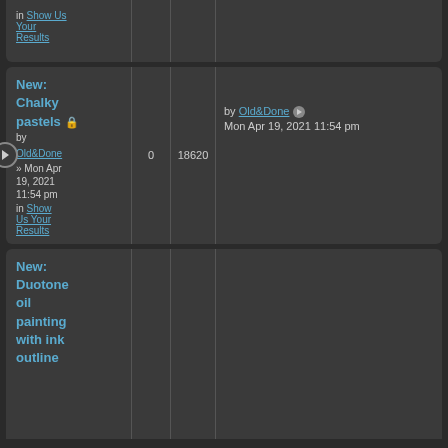in Show Us Your Results
New: Chalky pastels — by Old&Done » Mon Apr 19, 2021 11:54 pm in Show Us Your Results — 0 replies, 18620 views — Last post by Old&Done Mon Apr 19, 2021 11:54 pm
New: Duotone oil painting with ink outline